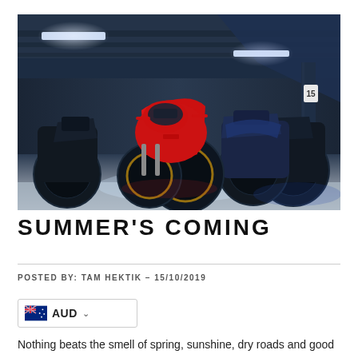[Figure (photo): Three sport motorcycles parked in a dark underground parking garage with blue-tinted lighting. A red Ducati is in the center, flanked by dark/black and blue sport bikes. Overhead fluorescent lights illuminate the scene.]
SUMMER'S COMING
POSTED BY: TAM HEKTIK - 15/10/2019
[Figure (other): Australian flag emoji with AUD currency selector dropdown]
Nothing beats the smell of spring, sunshine, dry roads and good